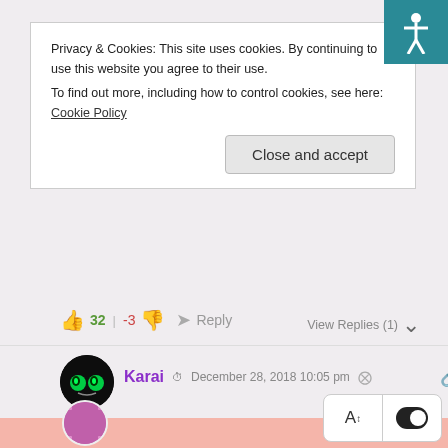Privacy & Cookies: This site uses cookies. By continuing to use this website you agree to their use.
To find out more, including how to control cookies, see here: Cookie Policy
Close and accept
32  |  -3    Reply    View Replies (1)
Karai   December 28, 2018 10:05 pm
Thank you for the chapter! When I saw the title I knew it is going to be good! They are finally back together, happy and passionate (woah, the heat). Ling Xiao is showing some warm feelings for his wife, so good! I bet he won't let Xiao Momo out of his sight at all now.
36  |  0    Reply